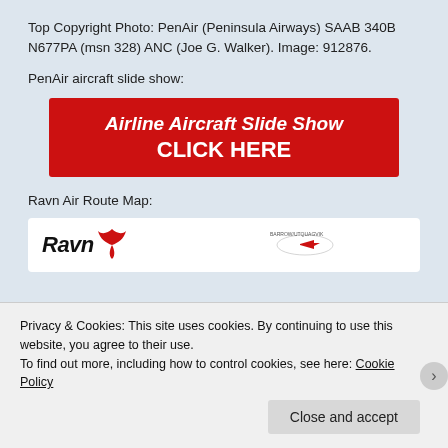Top Copyright Photo: PenAir (Peninsula Airways) SAAB 340B N677PA (msn 328) ANC (Joe G. Walker). Image: 912876.
PenAir aircraft slide show:
[Figure (other): Red button with white text reading 'Airline Aircraft Slide Show CLICK HERE']
Ravn Air Route Map:
[Figure (screenshot): Ravn Air route map preview showing Ravn logo and partial map]
Privacy & Cookies: This site uses cookies. By continuing to use this website, you agree to their use.
To find out more, including how to control cookies, see here: Cookie Policy
Close and accept